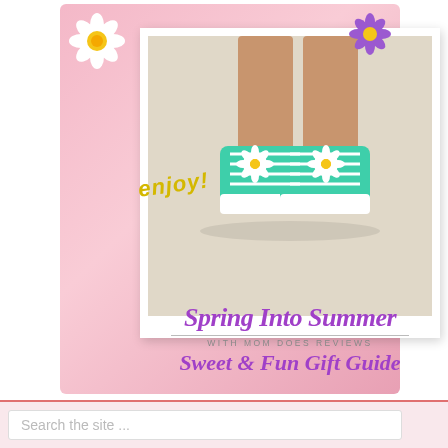[Figure (photo): Promotional image card with pink glittery background showing a polaroid-style photo of a child's legs wearing teal/mint sneakers decorated with white daisy flowers. White daisy decoration top-left, purple daisy top-right, yellow 'enjoy!' handwritten text overlay. Below the photo: 'Spring Into Summer' in large purple script, 'WITH MOM DOES REVIEWS' in small caps, 'Sweet & Fun Gift Guide' in purple script.]
Spring Into Summer
WITH MOM DOES REVIEWS
Sweet & Fun Gift Guide
Search the site ...